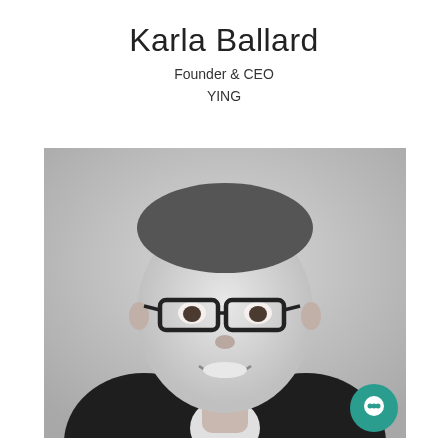Karla Ballard
Founder & CEO
YING
[Figure (photo): Black and white professional headshot of a man with glasses, short hair, wearing a dark suit jacket and white shirt, smiling at the camera. A teal chat bubble icon appears in the bottom-right corner of the photo.]